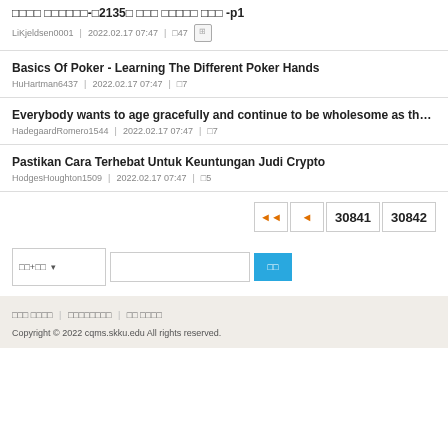□□□□ □□□□□□-□2135□ □□□ □□□□□ □□□ -p1
LiKjeldsen0001 | 2022.02.17 07:47 | □47
Basics Of Poker - Learning The Different Poker Hands
HuHartman6437 | 2022.02.17 07:47 | □7
Everybody wants to age gracefully and continue to be wholesome as they era. With people i
HadegaardRomero1544 | 2022.02.17 07:47 | □7
Pastikan Cara Terhebat Untuk Keuntungan Judi Crypto
HodgesHoughton1509 | 2022.02.17 07:47 | □5
◄◄ ◄ 30841 30842
□□+□□ ▾  □□
□□□ □□□□ | □□□□□□□□ | □□ □□□□
Copyright © 2022 cqms.skku.edu All rights reserved.